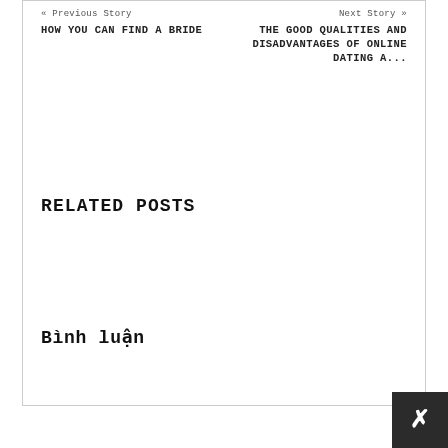« Previous Story
Next Story »
HOW YOU CAN FIND A BRIDE
THE GOOD QUALITIES AND DISADVANTAGES OF ONLINE DATING A...
RELATED POSTS
Bình luận